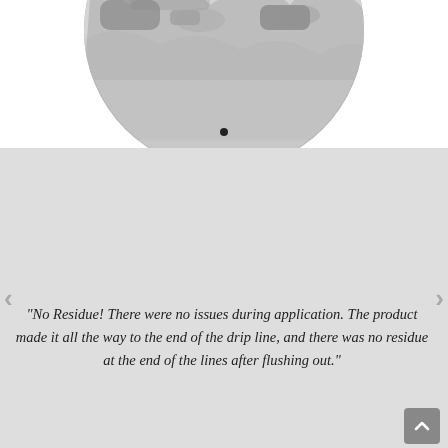[Figure (photo): Circular cropped photo showing a close-up of a plant or agricultural product in black and white tones, partially visible at top of page]
"No Residue! There were no issues during application. The product made it all the way to the end of the drip line, and there was no residue at the end of the lines after flushing out."
California Central Valley Grower